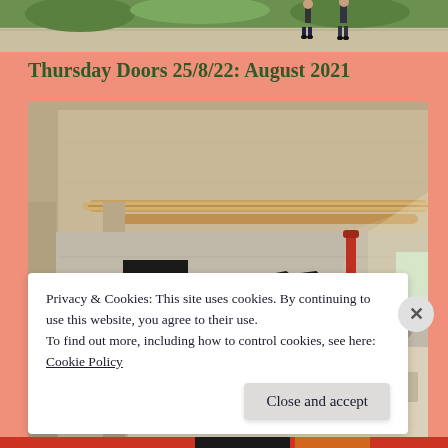[Figure (photo): Top portion of a photo showing people walking on a path with greenery]
Thursday Doors 25/8/22: August 2021
[Figure (photo): Interior of an abandoned or under-construction concrete building with graffiti art on the wall, showing letters in white/gold with black outlines, industrial pipes visible on ceiling, dramatic sunlight streaming in]
Privacy & Cookies: This site uses cookies. By continuing to use this website, you agree to their use.
To find out more, including how to control cookies, see here:
Cookie Policy
Close and accept